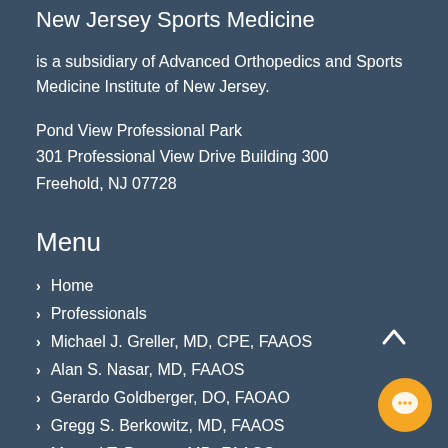New Jersey Sports Medicine
is a subsidiary of Advanced Orthopedics and Sports Medicine Institute of New Jersey.
Pond View Professional Park
301 Professional View Drive Building 300
Freehold, NJ 07728
Menu
Home
Professionals
Michael J. Greller, MD, CPE, FAAOS
Alan S. Nasar, MD, FAAOS
Gerardo Goldberger, DO, FAOAO
Gregg S. Berkowitz, MD, FAAOS
Manuel T. Banzon, MD, FAAOS
James F. Cozzarelli, MD, FAAOS